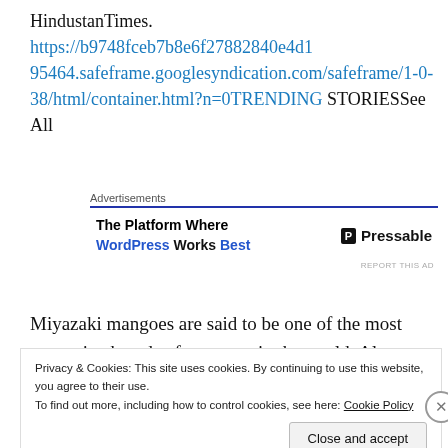HindustanTimes. https://b9748fceb7b8e6f27882840e4d195464.safeframe.googlesyndication.com/safeframe/1-0-38/html/container.html?n=0TRENDING STORIESSee All
[Figure (other): Advertisement banner for Pressable - The Platform Where WordPress Works Best]
Miyazaki mangoes are said to be one of the most expensive breeds of mangoes in the world. Also known as an egg of the sun, the Miyazaki mangoes sold
Privacy & Cookies: This site uses cookies. By continuing to use this website, you agree to their use.
To find out more, including how to control cookies, see here: Cookie Policy

Close and accept